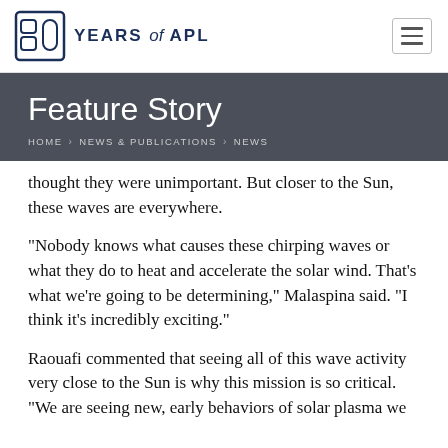80 YEARS of APL
Feature Story
HOME › NEWS & PUBLICATIONS › NEWS
thought they were unimportant. But closer to the Sun, these waves are everywhere.
“Nobody knows what causes these chirping waves or what they do to heat and accelerate the solar wind. That’s what we’re going to be determining,” Malaspina said. “I think it’s incredibly exciting.”
Raouafi commented that seeing all of this wave activity very close to the Sun is why this mission is so critical. “We are seeing new, early behaviors of solar plasma we